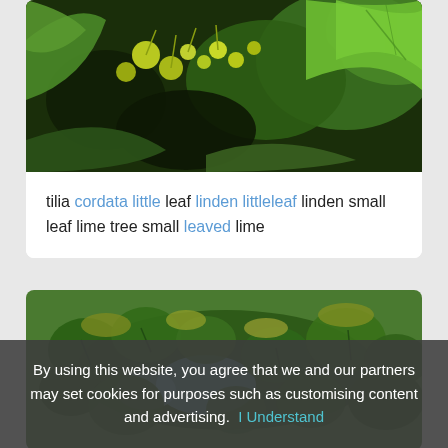[Figure (photo): Close-up photo of tilia (linden) tree flowers and leaves with yellow-green buds and large green leaves against a dark background]
tilia cordata little leaf linden littleleaf linden small leaf lime tree small leaved lime
[Figure (photo): Photo of a linden/lime tree canopy with small flowers and round green leaves viewed from below against sky]
By using this website, you agree that we and our partners may set cookies for purposes such as customising content and advertising. I Understand